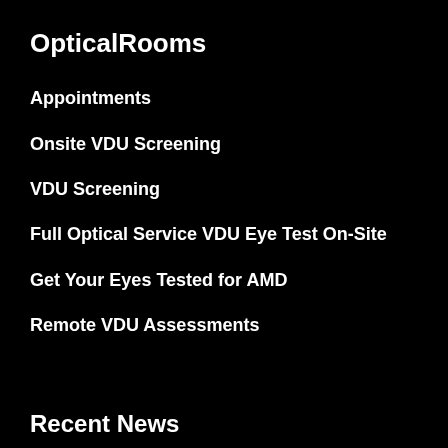OpticalRooms
Appointments
Onsite VDU Screening
VDU Screening
Full Optical Service VDU Eye Test On-Site
Get Your Eyes Tested for AMD
Remote VDU Assessments
Recent News
Trehalose in Eye Drops